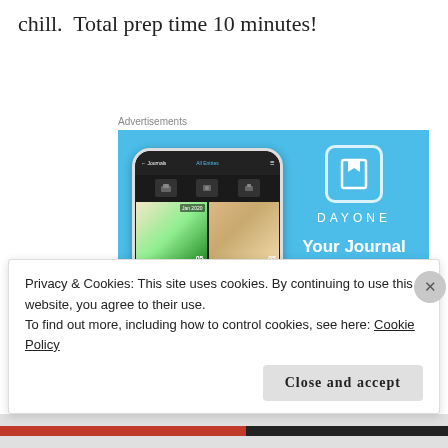chill.  Total prep time 10 minutes!
Advertisements
[Figure (illustration): Advertisement for DayOne app showing a phone mockup with photo journal entries and the text 'Your Journal for life' with a 'Get the app' button on a light blue background.]
Privacy & Cookies: This site uses cookies. By continuing to use this website, you agree to their use.
To find out more, including how to control cookies, see here: Cookie Policy
Close and accept